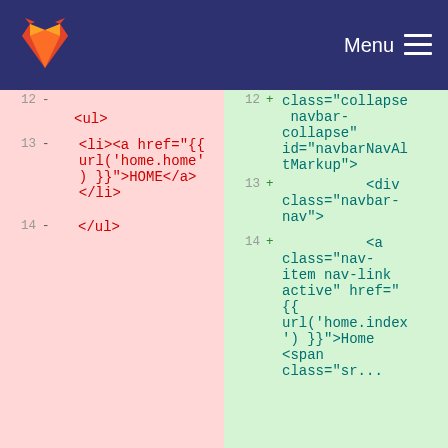[Figure (screenshot): GitLab navigation bar with logo and Menu icon on dark blue background]
[Figure (screenshot): Code diff view showing HTML changes. Left side (pink/red background) shows removed lines 12-14 with <ul>, <li><a href='{{ url(home.home) }}'>HOME</a></li>, </ul>. Right side (green background) shows added lines 12-14 with class='collapse navbar-collapse' id='navbarNavAltMarkup'>, <div class='navbar-nav'>, <a class='nav-item nav-link active' href='{{ url('home.index') }}'>Home <span class='sr...]